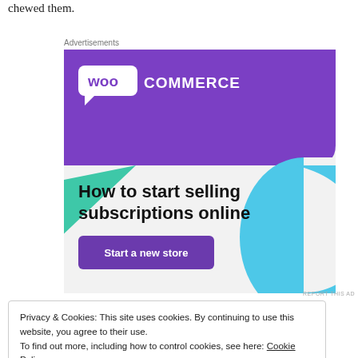chewed them.
Advertisements
[Figure (screenshot): WooCommerce advertisement banner. Purple background with WooCommerce logo (speech bubble with 'woo' text and 'COMMERCE' beside it). Teal triangle in lower left, cyan arc in lower right. Bold text reads 'How to start selling subscriptions online'. Purple button labeled 'Start a new store'.]
REPORT THIS AD
Privacy & Cookies: This site uses cookies. By continuing to use this website, you agree to their use.
To find out more, including how to control cookies, see here: Cookie Policy
Close and accept